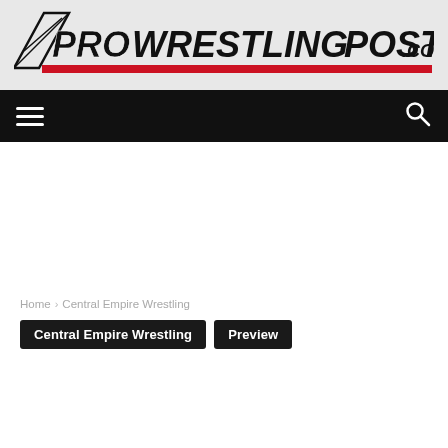[Figure (logo): ProWrestlingPost.com logo — bold italic text with wrestling ring graphic and red stripe, black and white]
Navigation bar with hamburger menu icon and search icon
Home › Central Empire Wrestling
Central Empire Wrestling | Preview